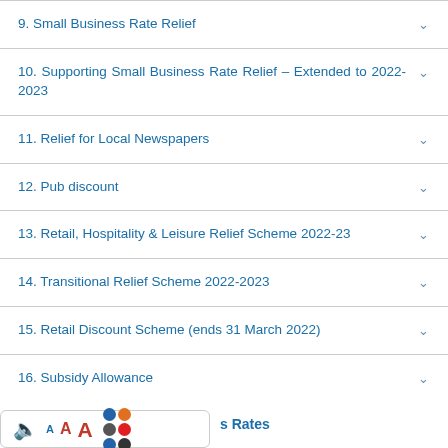9. Small Business Rate Relief
10. Supporting Small Business Rate Relief – Extended to 2022-2023
11. Relief for Local Newspapers
12. Pub discount
13. Retail, Hospitality & Leisure Relief Scheme 2022-23
14. Transitional Relief Scheme 2022-2023
15. Retail Discount Scheme (ends 31 March 2022)
16. Subsidy Allowance
s Rates